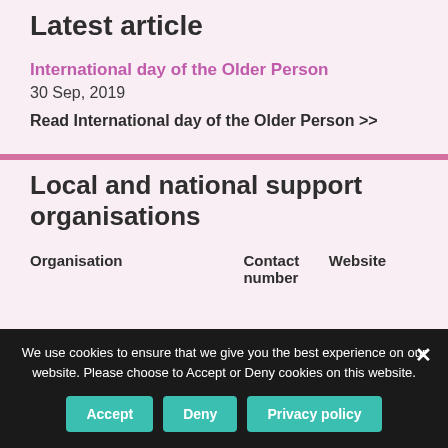Latest article
International day of the Older Person
30 Sep, 2019
Read International day of the Older Person >>
Local and national support organisations
| Organisation | Contact number | Website |
| --- | --- | --- |
We use cookies to ensure that we give you the best experience on our website. Please choose to Accept or Deny cookies on this website.